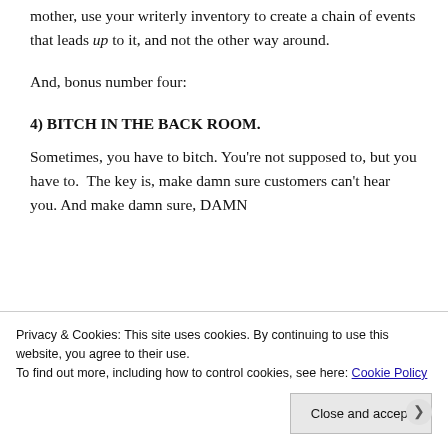mother, use your writerly inventory to create a chain of events that leads up to it, and not the other way around.
And, bonus number four:
4) BITCH IN THE BACK ROOM.
Sometimes, you have to bitch. You're not supposed to, but you have to.  The key is, make damn sure customers can't hear you. And make damn sure, DAMN
Privacy & Cookies: This site uses cookies. By continuing to use this website, you agree to their use.
To find out more, including how to control cookies, see here: Cookie Policy